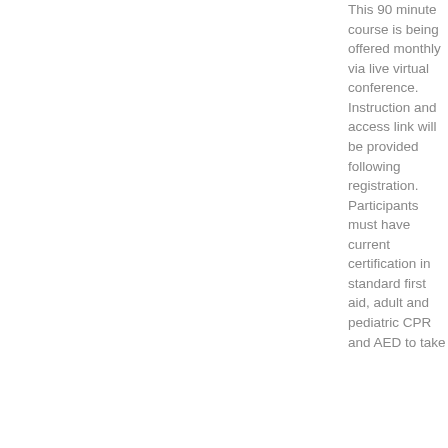This 90 minute course is being offered monthly via live virtual conference. Instruction and access link will be provided following registration. Participants must have current certification in standard first aid, adult and pediatric CPR and AED to take